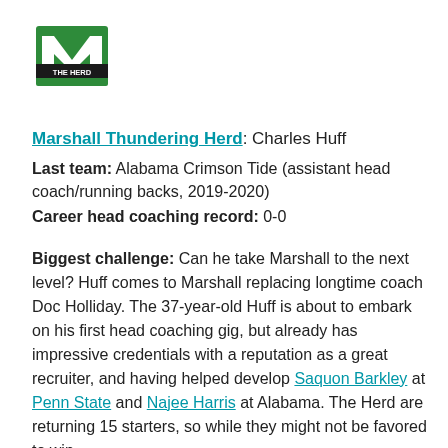[Figure (logo): Marshall Thundering Herd logo — green letter M with black banner reading THE HERD]
Marshall Thundering Herd: Charles Huff
Last team: Alabama Crimson Tide (assistant head coach/running backs, 2019-2020)
Career head coaching record: 0-0
Biggest challenge: Can he take Marshall to the next level? Huff comes to Marshall replacing longtime coach Doc Holliday. The 37-year-old Huff is about to embark on his first head coaching gig, but already has impressive credentials with a reputation as a great recruiter, and having helped develop Saquon Barkley at Penn State and Najee Harris at Alabama. The Herd are returning 15 starters, so while they might not be favored to win